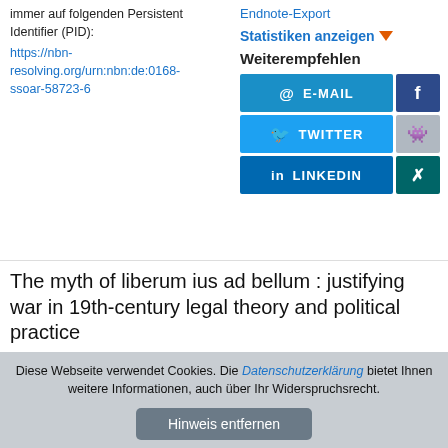immer auf folgenden Persistent Identifier (PID):
https://nbn-resolving.org/urn:nbn:de:0168-ssoar-58723-6
Endnote-Export
Statistiken anzeigen
Weiterempfehlen
[Figure (other): Share buttons grid: E-MAIL (blue), Facebook (dark blue), TWITTER (light blue), Reddit (grey), LINKEDIN (medium blue), XING (dark teal)]
The myth of liberum ius ad bellum : justifying war in 19th-century legal theory and political practice
[Zeitschriftenartikel]
Diese Webseite verwendet Cookies. Die Datenschutzerklärung bietet Ihnen weitere Informationen, auch über Ihr Widerspruchsrecht.
Hinweis entfernen